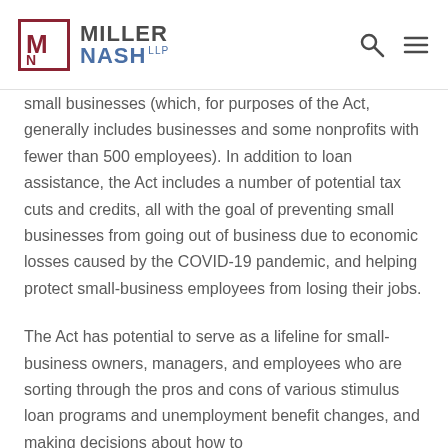Miller Nash LLP
small businesses (which, for purposes of the Act, generally includes businesses and some nonprofits with fewer than 500 employees). In addition to loan assistance, the Act includes a number of potential tax cuts and credits, all with the goal of preventing small businesses from going out of business due to economic losses caused by the COVID-19 pandemic, and helping protect small-business employees from losing their jobs.
The Act has potential to serve as a lifeline for small-business owners, managers, and employees who are sorting through the pros and cons of various stimulus loan programs and unemployment benefit changes, and making decisions about how to